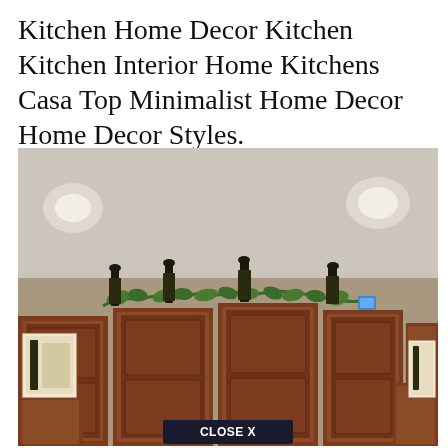Kitchen Home Decor Kitchen Kitchen Interior Home Kitchens Casa Top Minimalist Home Decor Home Decor Styles.
[Figure (photo): Photo of kitchen cabinets decorated on top with wine bottles and greenery/grape leaves. The cabinets are dark wood (cherry/mahogany), and the tops are adorned with multiple wine bottles and trailing vine decorations. Ceiling has recessed lighting. A 'CLOSE X' button overlay is at the bottom center of the image.]